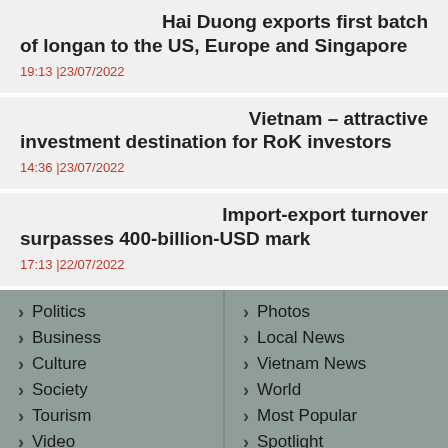Hai Duong exports first batch of longan to the US, Europe and Singapore
19:13 |23/07/2022
Vietnam – attractive investment destination for RoK investors
14:36 |23/07/2022
Import-export turnover surpasses 400-billion-USD mark
17:13 |22/07/2022
Politics
Business
Culture
Society
Tourism
Video
Photos
Local News
Vietnam News
World
Most Popular
Spotlight